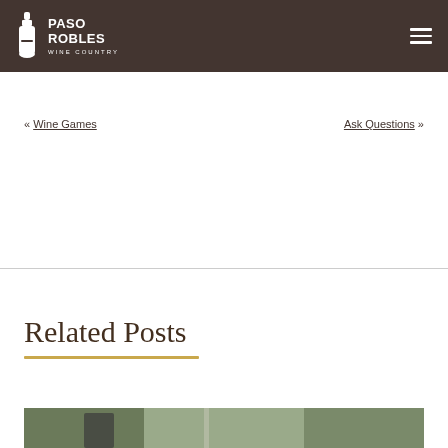PASO ROBLES WINE COUNTRY
« Wine Games    Ask Questions »
Related Posts
[Figure (photo): Outdoor photo partially visible at the bottom of the page, showing blurred greenery and what appears to be an outdoor setting, likely a winery or vineyard]